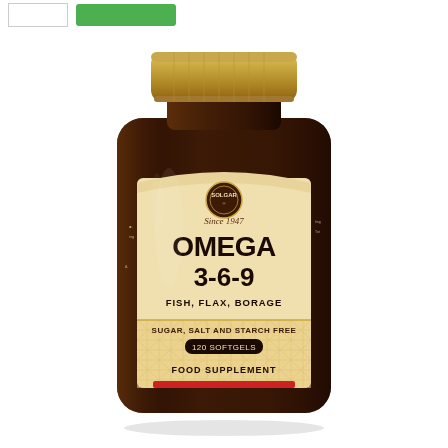[Figure (photo): Solgar Omega 3-6-9 Fish, Flax, Borage supplement bottle. Dark amber glass jar with gold metal lid and cream/tan label. Label reads: SOLGAR Since 1947, OMEGA 3-6-9, FISH, FLAX, BORAGE, SUGAR, SALT AND STARCH FREE, 120 SOFTGELS, FOOD SUPPLEMENT. Red stripe at bottom of label. Diamond pattern background on lower label section.]